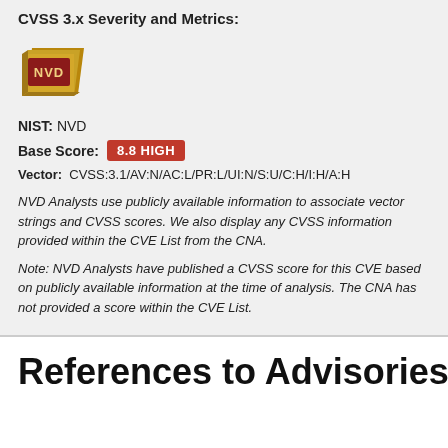CVSS 3.x Severity and Metrics:
[Figure (logo): NVD logo — gold book with NVD text]
NIST: NVD
Base Score: 8.8 HIGH
Vector: CVSS:3.1/AV:N/AC:L/PR:L/UI:N/S:U/C:H/I:H/A:H
NVD Analysts use publicly available information to associate vector strings and CVSS scores. We also display any CVSS information provided within the CVE List from the CNA.
Note: NVD Analysts have published a CVSS score for this CVE based on publicly available information at the time of analysis. The CNA has not provided a score within the CVE List.
References to Advisories, Soluti